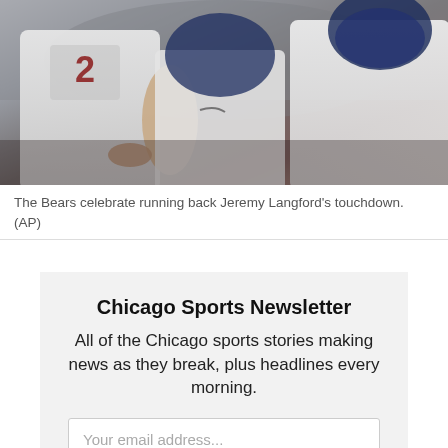[Figure (photo): Chicago Bears players in white jerseys celebrating running back Jeremy Langford's touchdown on the field]
The Bears celebrate running back Jeremy Langford's touchdown. (AP)
Chicago Sports Newsletter
All of the Chicago sports stories making news as they break, plus headlines every morning.
Your email address...
SIGN UP
FOXBOROUGH, Mo... The Bears' offensive li...